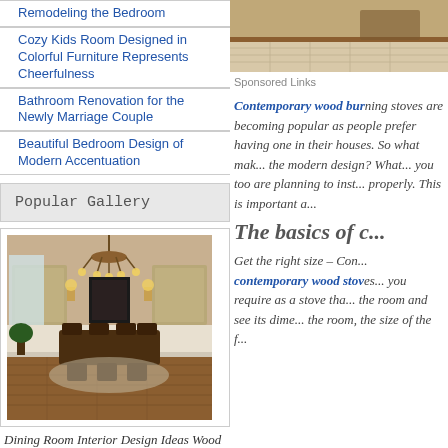Remodeling the Bedroom
Cozy Kids Room Designed in Colorful Furniture Represents Cheerfulness
Bathroom Renovation for the Newly Marriage Couple
Beautiful Bedroom Design of Modern Accentuation
Popular Gallery
[Figure (photo): Dining room interior with chandelier, wood furniture, and hardwood floor]
Dining Room Interior Design Ideas Wood Floor
[Figure (photo): Close-up of wood flooring detail]
[Figure (photo): Top photo partial view of room with tiled and wood floor]
Sponsored Links
Contemporary wood bur... their houses. So what mak... the modern design? What... you too are planning to inst... properly. This is important a...
The basics of c...
Get the right size – Con... contemporary wood stov... you require as a stove tha... the room and see its dime... the room, the size of the f...